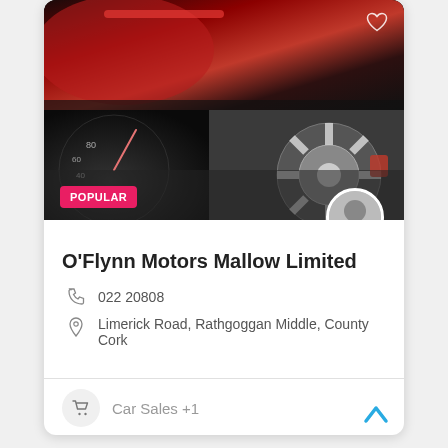[Figure (photo): Dark background car detail image showing speedometer/dashboard on left and alloy wheel on right with red accent. POPULAR badge overlaid at bottom left.]
O'Flynn Motors Mallow Limited
022 20808
Limerick Road, Rathgoggan Middle, County Cork
Car Sales +1